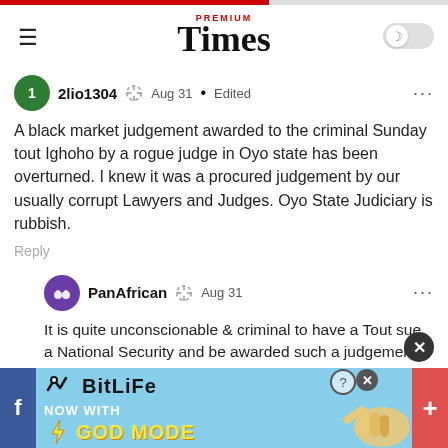Premium Times
2lio1304 Aug 31 • Edited
A black market judgement awarded to the criminal Sunday tout Ighoho by a rogue judge in Oyo state has been overturned. I knew it was a procured judgement by our usually corrupt Lawyers and Judges. Oyo State Judiciary is rubbish.
Reply
PanAfrican Aug 31
It is quite unconscionable & criminal to have a Tout sue a National Security and be awarded such a judgement.
I am hoping this Judge, will be investigated.
Reply
[Figure (screenshot): BitLife advertisement banner: NOW WITH GOD MODE]